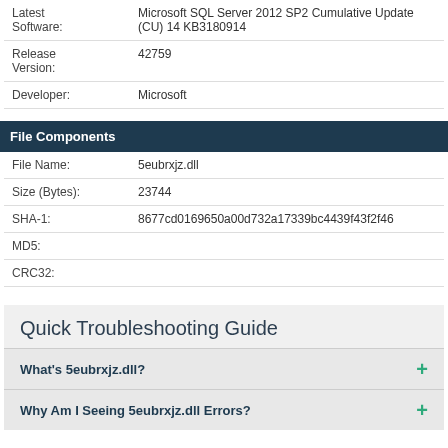| Field | Value |
| --- | --- |
| Latest Software: | Microsoft SQL Server 2012 SP2 Cumulative Update (CU) 14 KB3180914 |
| Release Version: | 42759 |
| Developer: | Microsoft |
File Components
| Field | Value |
| --- | --- |
| File Name: | 5eubrxjz.dll |
| Size (Bytes): | 23744 |
| SHA-1: | 8677cd0169650a00d732a17339bc4439f43f2f46 |
| MD5: |  |
| CRC32: |  |
Quick Troubleshooting Guide
What's 5eubrxjz.dll?
Why Am I Seeing 5eubrxjz.dll Errors?